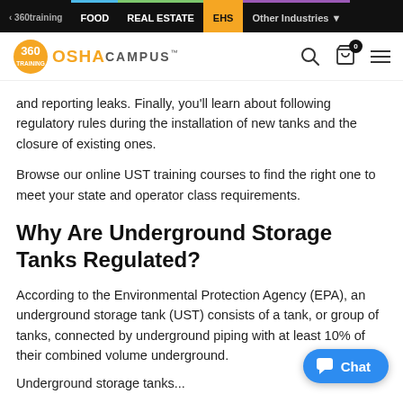< 360training   FOOD   REAL ESTATE   EHS   Other Industries
[Figure (logo): 360 OSHA CAMPUS logo with search, cart, and menu icons]
and reporting leaks. Finally, you'll learn about following regulatory rules during the installation of new tanks and the closure of existing ones.
Browse our online UST training courses to find the right one to meet your state and operator class requirements.
Why Are Underground Storage Tanks Regulated?
According to the Environmental Protection Agency (EPA), an underground storage tank (UST) consists of a tank, or group of tanks, connected by underground piping with at least 10% of their combined volume underground.
Underground storage tanks...